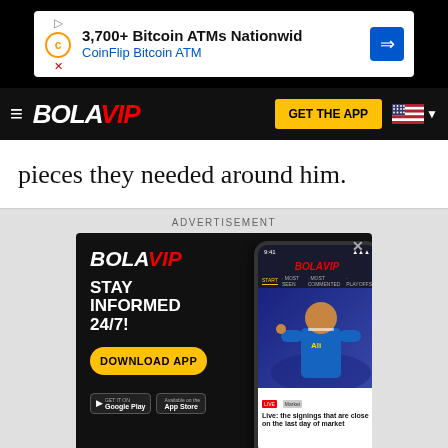[Figure (screenshot): Top advertisement banner for CoinFlip Bitcoin ATM: '3,700+ Bitcoin ATMs Nationwid' and 'CoinFlip Bitcoin ATM']
BOLAVIP — GET THE APP
pieces they needed around him.
ADVERTISEMENT
[Figure (screenshot): BOLAVIP app advertisement: 'STAY INFORMED 24/7!' with DOWNLOAD APP button, Google Play and App Store badges, and phone mockup showing Kylian Mbappé with headline 'Live: the signings that are close on the last day of market']